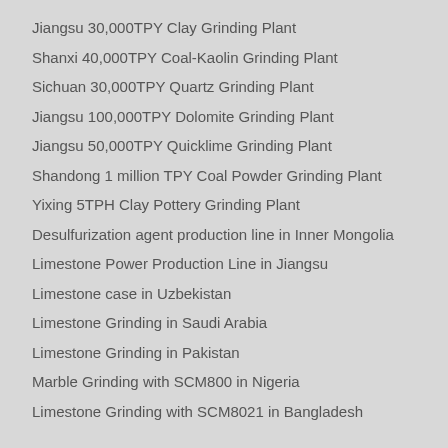Jiangsu 30,000TPY Clay Grinding Plant
Shanxi 40,000TPY Coal-Kaolin Grinding Plant
Sichuan 30,000TPY Quartz Grinding Plant
Jiangsu 100,000TPY Dolomite Grinding Plant
Jiangsu 50,000TPY Quicklime Grinding Plant
Shandong 1 million TPY Coal Powder Grinding Plant
Yixing 5TPH Clay Pottery Grinding Plant
Desulfurization agent production line in Inner Mongolia
Limestone Power Production Line in Jiangsu
Limestone case in Uzbekistan
Limestone Grinding in Saudi Arabia
Limestone Grinding in Pakistan
Marble Grinding with SCM800 in Nigeria
Limestone Grinding with SCM8021 in Bangladesh